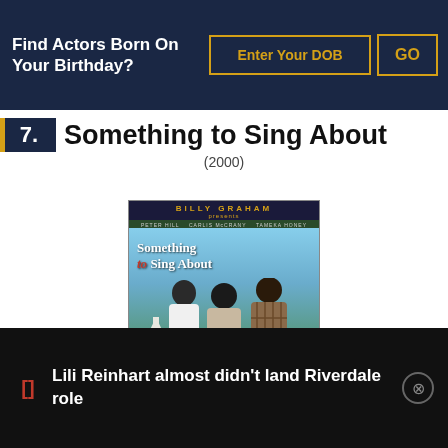Find Actors Born On Your Birthday?
Enter Your DOB
GO
7. Something to Sing About (2000)
[Figure (photo): Movie poster for Something to Sing About (2000), a Billy Graham film, showing three people standing in front of a church]
Lili Reinhart almost didn't land Riverdale role